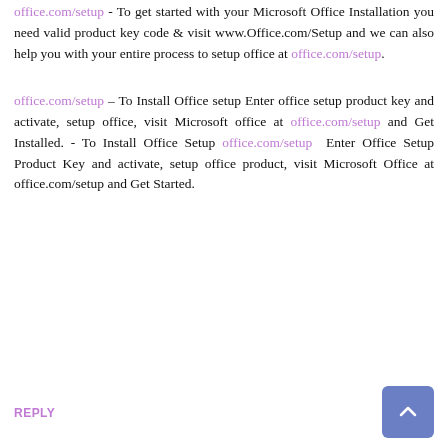office.com/setup - To get started with your Microsoft Office Installation you need valid product key code & visit www.Office.com/Setup and we can also help you with your entire process to setup office at office.com/setup.
office.com/setup – To Install Office setup Enter office setup product key and activate, setup office, visit Microsoft office at office.com/setup and Get Installed. - To Install Office Setup office.com/setup Enter Office Setup Product Key and activate, setup office product, visit Microsoft Office at office.com/setup and Get Started.
REPLY